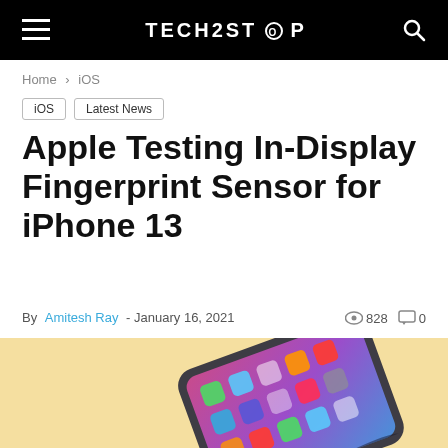TECH2STOP
Home > iOS
iOS  Latest News
Apple Testing In-Display Fingerprint Sensor for iPhone 13
By Amitesh Ray - January 16, 2021  828  0
[Figure (photo): Concept render of a foldable iPhone with colorful home screen icons on a yellow/peach background]